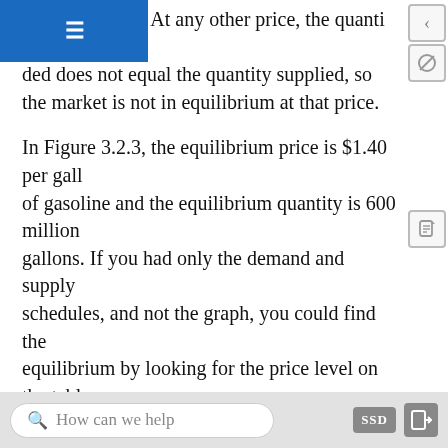rium quantity. At any other price, the quantity demanded does not equal the quantity supplied, so the market is not in equilibrium at that price.
In Figure 3.2.3, the equilibrium price is $1.40 per gallon of gasoline and the equilibrium quantity is 600 million gallons. If you had only the demand and supply schedules, and not the graph, you could find the equilibrium by looking for the price level on the tables where the quantity demanded and the quantity supplied are equal.
The word “equilibrium” means “balance.” If a market is at its equilibrium price and quantity, then it has no reason to move away from that point. However, if a market is not at equilibrium, then economic pressures arise to move the market toward the equilibrium price.
How can we help